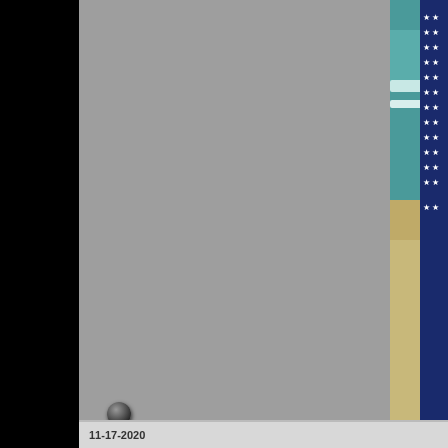[Figure (photo): Beach scene with ocean waves and sand, person wearing American flag clothing on the right side]
Originally Posted by Chris
Left can't meme, they just st

copy paste

George Carlin

lol
11-17-2020